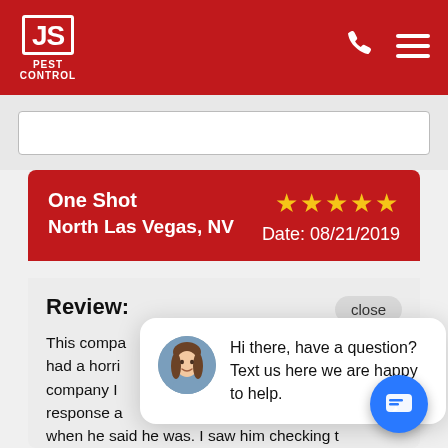[Figure (logo): JS Pest Control red logo with white text and border, phone icon, and hamburger menu icon in red header bar]
[Figure (screenshot): Partial white search input box on grey background]
One Shot
North Las Vegas, NV
★★★★★
Date: 08/21/2019
Review:
This compa... had a horrib... company I... response a... when he said he was. I saw him checking the problem area thoroughly. He explained what he did and what was laid out inside the unit, signed and he was off. Staff in the office also was friendly and helpful with what I needed in
Hi there, have a question? Text us here we are happy to help.